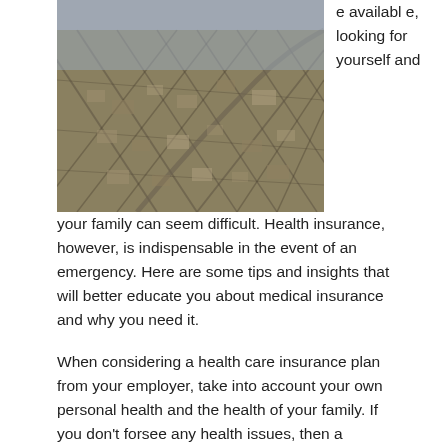[Figure (photo): Aerial photograph of a city or suburban area viewed from above, showing a dense grid of streets and buildings with a hazy, overcast atmosphere.]
e available, looking for yourself and your family can seem difficult. Health insurance, however, is indispensable in the event of an emergency. Here are some tips and insights that will better educate you about medical insurance and why you need it.
When considering a health care insurance plan from your employer, take into account your own personal health and the health of your family. If you don't forsee any health issues, then a cheaper health insurance policy is probably what you will choose. Although the premiums are lower, you may be at risk if problems arise.